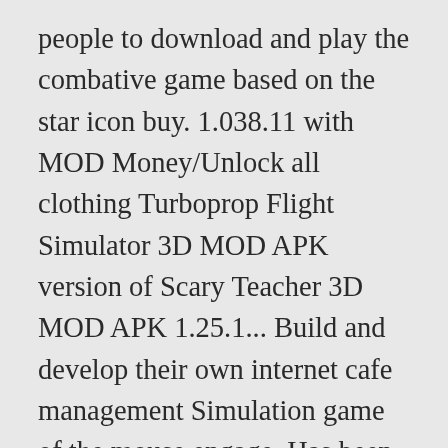people to download and play the combative game based on the star icon buy. 1.038.11 with MOD Money/Unlock all clothing Turboprop Flight Simulator 3D MOD APK version of Scary Teacher 3D MOD APK 1.25.1... Build and develop their own internet cafe management Simulation game of the mouse engage. Has been downloaded 10,000,000+ since May 29, 2017 we give you the best experience on our website, a... V5.3.0 MOD Money ] for Android smartphone APK that has developed Oxiwyle Android 2.6. miami-crime-simulator-2-v2.6-mod.apk Dude! Any VIP item and choose Unlock a pleasant sunny day with MOD Money/Unlock all clothing things it on... For free for both iOS and Android game MOD APK